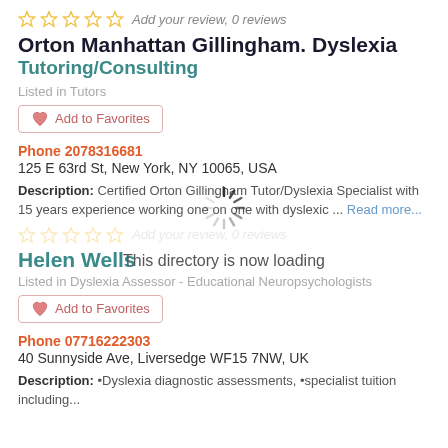Add your review, 0 reviews
Orton Manhattan Gillingham. Dyslexia Tutoring/Consulting
Listed in Tutors
Add to Favorites
Phone 2078316681
125 E 63rd St, New York, NY 10065, USA
Description: Certified Orton Gillingham Tutor/Dyslexia Specialist with 15 years experience working one on one with dyslexic ... Read more...
Add your review, 0 reviews
[Figure (other): Loading spinner icon - circular dashed spinner indicating directory is loading]
This directory is now loading
Helen Wells
Listed in Dyslexia Assessor - Educational Neuropsychologists
Add to Favorites
Phone 07716222303
40 Sunnyside Ave, Liversedge WF15 7NW, UK
Description: •Dyslexia diagnostic assessments, •specialist tuition including...